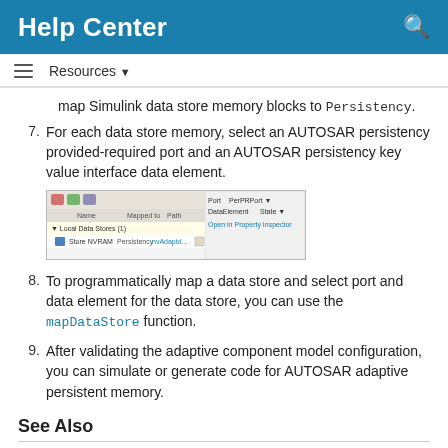Help Center
Resources ▼
map Simulink data store memory blocks to Persistency.
7. For each data store memory, select an AUTOSAR persistency provided-required port and an AUTOSAR persistency key value interface data element.
[Figure (screenshot): Screenshot of a data mapping dialog showing Local Data Stores section with Store NVRAM mapped to Persistency with a port/data element selector on the right.]
8. To programmatically map a data store and select port and data element for the data store, you can use the mapDataStore function.
9. After validating the adaptive component model configuration, you can simulate or generate code for AUTOSAR adaptive persistent memory.
See Also
mapDataStore | getDataStore